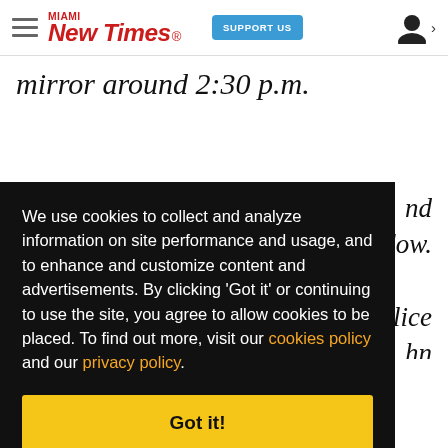Miami New Times — SUPPORT US
mirror around 2:30 p.m.
nd dow.
police hn
hn's icer
We use cookies to collect and analyze information on site performance and usage, and to enhance and customize content and advertisements. By clicking 'Got it' or continuing to use the site, you agree to allow cookies to be placed. To find out more, visit our cookies policy and our privacy policy.
Got it!
Bruton, startled, pleaded with the officer not to